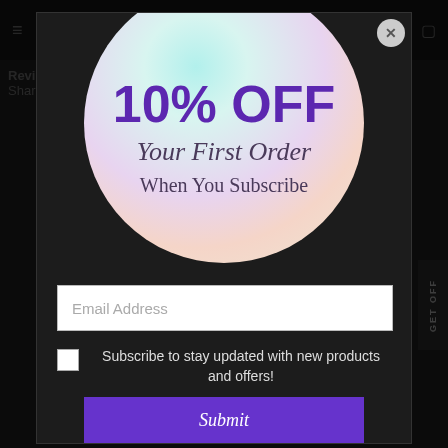[Figure (screenshot): Website popup modal offering 10% off first order when subscribing. Dark background with circular gradient graphic showing discount offer, email input field, checkbox for subscription, and submit button.]
10% OFF
Your First Order
When You Subscribe
Email Address
Subscribe to stay updated with new products and offers!
Submit